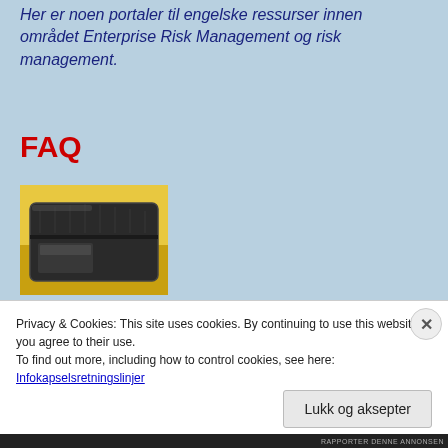Her er noen portaler til engelske ressurser innen området Enterprise Risk Management og risk management.
FAQ
[Figure (photo): A dark leather wallet on a yellow background]
Privacy & Cookies: This site uses cookies. By continuing to use this website, you agree to their use.
To find out more, including how to control cookies, see here:
Infokapselsretningslinjer
Lukk og aksepter